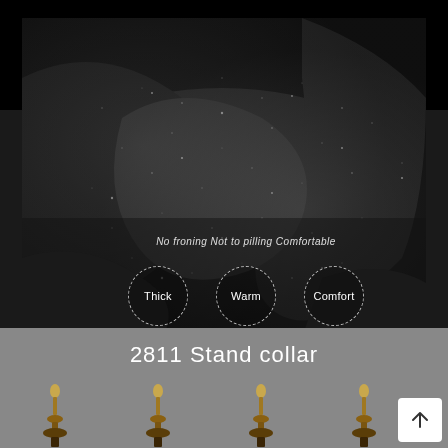[Figure (photo): Close-up photograph of thick dark gray fleece/wool fabric texture shown in black and white, with three dashed circle badges labeled Thick, Warm, Comfort, and text overlay reading 'No froning Not to pilling Comfortable']
2811 Stand collar
[Figure (photo): Row of mannequin torsos/stands visible at bottom of the page, partially cropped]